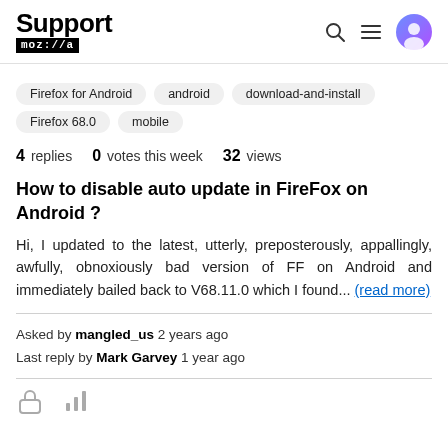Support mozilla
Firefox for Android
android
download-and-install
Firefox 68.0
mobile
4 replies   0 votes this week   32 views
How to disable auto update in FireFox on Android ?
Hi, I updated to the latest, utterly, preposterously, appallingly, awfully, obnoxiously bad version of FF on Android and immediately bailed back to V68.11.0 which I found... (read more)
Asked by mangled_us 2 years ago
Last reply by Mark Garvey 1 year ago